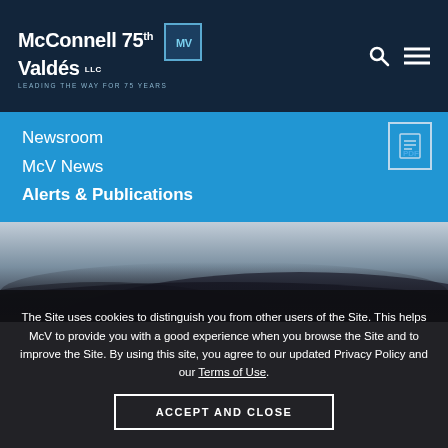McConnell Valdés LLC — Leading the Way for 75 Years
Newsroom
McV News
Alerts & Publications
[Figure (photo): Blurred close-up image of dark curved surfaces, transitioning from light gray at top to dark black at bottom]
The Site uses cookies to distinguish you from other users of the Site. This helps McV to provide you with a good experience when you browse the Site and to improve the Site. By using this site, you agree to our updated Privacy Policy and our Terms of Use.
ACCEPT AND CLOSE